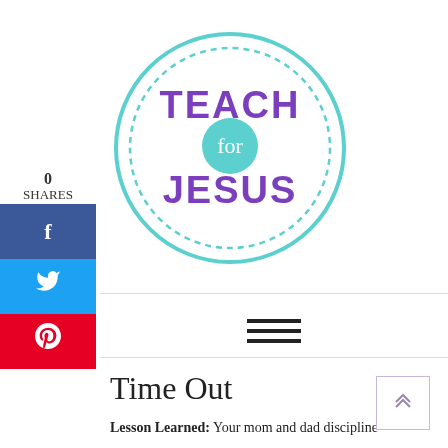[Figure (logo): Teach for Jesus circular logo with teal dotted border, purple block letters TEACH and JESUS, teal circle with cursive 'for' in center]
0
SHARES
[Figure (infographic): Facebook share button (blue with f icon)]
[Figure (infographic): Twitter share button (blue with bird icon)]
[Figure (infographic): Pinterest share button (red with P icon)]
[Figure (infographic): Hamburger menu icon (three horizontal lines)]
Time Out
Lesson Learned:  Your mom and dad discipline